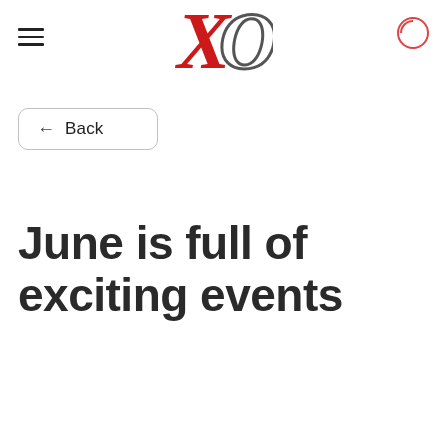XO
← Back
June is full of exciting events